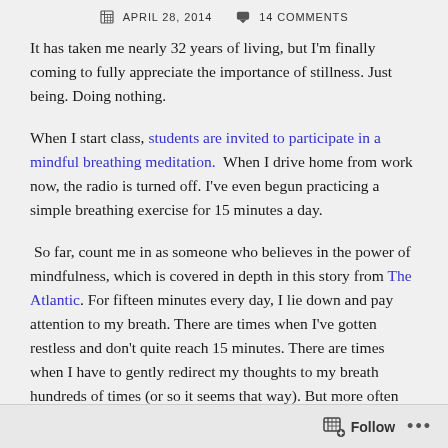APRIL 28, 2014   14 COMMENTS
It has taken me nearly 32 years of living, but I'm finally coming to fully appreciate the importance of stillness. Just being. Doing nothing.
When I start class, students are invited to participate in a mindful breathing meditation.  When I drive home from work now, the radio is turned off. I've even begun practicing a simple breathing exercise for 15 minutes a day.
So far, count me in as someone who believes in the power of mindfulness, which is covered in depth in this story from The Atlantic. For fifteen minutes every day, I lie down and pay attention to my breath. There are times when I've gotten restless and don't quite reach 15 minutes. There are times when I have to gently redirect my thoughts to my breath hundreds of times (or so it seems that way). But more often than not, I feel
Follow ...